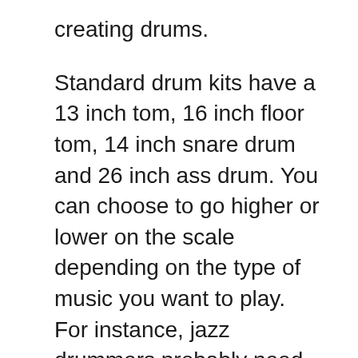creating drums.
Standard drum kits have a 13 inch tom, 16 inch floor tom, 14 inch snare drum and 26 inch ass drum. You can choose to go higher or lower on the scale depending on the type of music you want to play. For instance, jazz drummers probably need smaller drum kits.
Regardless of the size of the drum, you should always check the inner diameter of the shell. This is to ensure you are getting the drum heads with the right size make sure to check the underside (resonant) of the drum head as well as the batter. While the diameter of the drum shell is important, it should not be their only determining factor when you are choosing drum heads